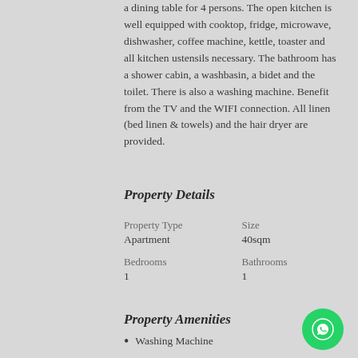a dining table for 4 persons. The open kitchen is well equipped with cooktop, fridge, microwave, dishwasher, coffee machine, kettle, toaster and all kitchen ustensils necessary. The bathroom has a shower cabin, a washbasin, a bidet and the toilet. There is also a washing machine. Benefit from the TV and the WIFI connection. All linen (bed linen & towels) and the hair dryer are provided.
Property Details
| Property Type | Size | Bedrooms | Bathrooms |
| --- | --- | --- | --- |
| Apartment | 40sqm | 1 | 1 |
Property Amenities
Washing Machine